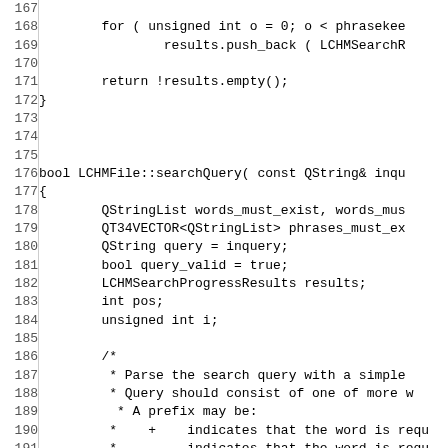[Figure (other): Source code listing (C++) showing lines 167-196 of a file, including a for loop with results.push_back, a return statement, a closing brace, and the beginning of bool LCHMFile::searchQuery function with variable declarations and a comment block explaining the search query parsing logic.]